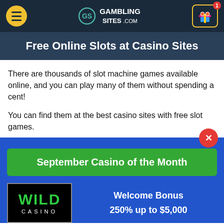GamblingSites.com navigation header
Free Online Slots at Casino Sites
There are thousands of slot machine games available online, and you can play many of them without spending a cent!
You can find them at the best casino sites with free slot games.
September Casino of the Month
[Figure (logo): Wild Casino logo - black background with green WILD text and white CASINO text]
Welcome Bonus
250% up to $5,000
VISIT SITE ▶